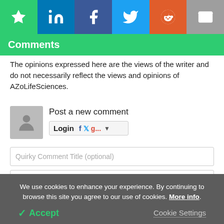[Figure (screenshot): Social sharing toolbar with star/bookmark, LinkedIn, Facebook, Twitter, Reddit, and email icons]
Comments
The opinions expressed here are the views of the writer and do not necessarily reflect the views and opinions of AZoLifeSciences.
Post a new comment
[Figure (screenshot): Login button with Facebook, Twitter, Google+ social login options and dropdown arrow]
Quirky Comment Title (optional)
We use cookies to enhance your experience. By continuing to browse this site you agree to our use of cookies. More info.
Accept
Cookie Settings